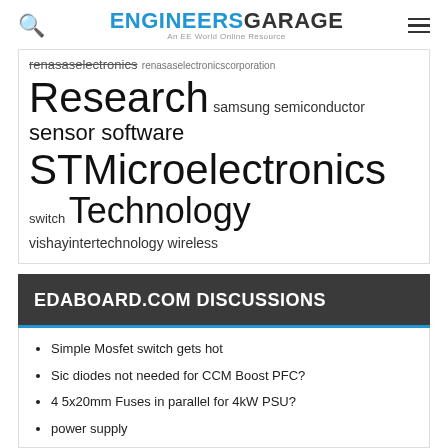ENGINEERS GARAGE — An EE World Online Resource
renesas electronics renasaselectronicscorporation Research samsung semiconductor sensor software STMicroelectronics switch Technology vishayintertechnology wireless
EDABOARD.COM DISCUSSIONS
Simple Mosfet switch gets hot
Sic diodes not needed for CCM Boost PFC?
4 5x20mm Fuses in parallel for 4kW PSU?
power supply